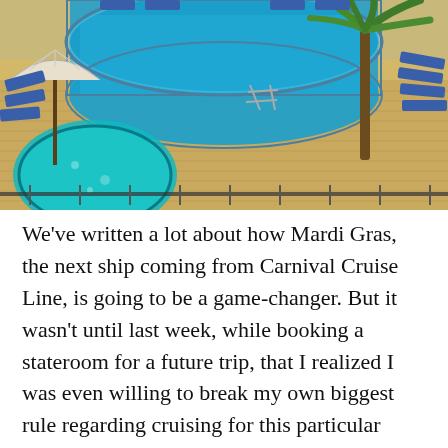[Figure (photo): Aerial view of a cruise ship pool deck with a large rectangular lap pool, circular hot tub/spa, blue lounge chairs arranged around the deck, a palm tree on the right, and a beach umbrella on the left. The deck surface is tan/sandy colored.]
We've written a lot about how Mardi Gras, the next ship coming from Carnival Cruise Line, is going to be a game-changer. But it wasn't until last week, while booking a stateroom for a future trip, that I realized I was even willing to break my own biggest rule regarding cruising for this particular ship. [...]